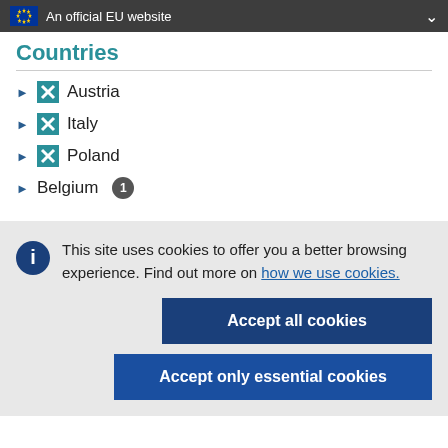An official EU website
Countries
Austria
Italy
Poland
Belgium 1
This site uses cookies to offer you a better browsing experience. Find out more on how we use cookies.